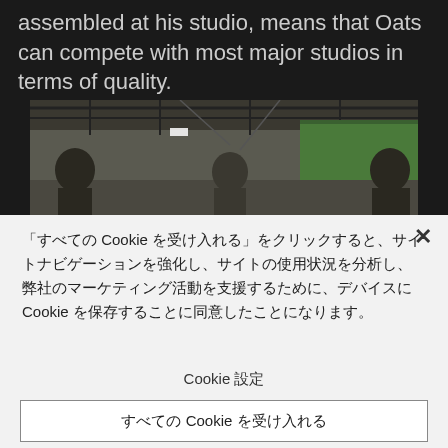assembled at his studio, means that Oats can compete with most major studios in terms of quality.
[Figure (photo): Interior of a film studio with green screen, lighting rigs, and crew members visible]
「すべての Cookie を受け入れる」をクリックすると、サイトナビゲーションを強化し、サイトの使用状況を分析し、弊社のマーケティング活動を支援するために、デバイスに Cookie を保存することに同意したことになります。
Cookie 設定
すべての Cookie を受け入れる